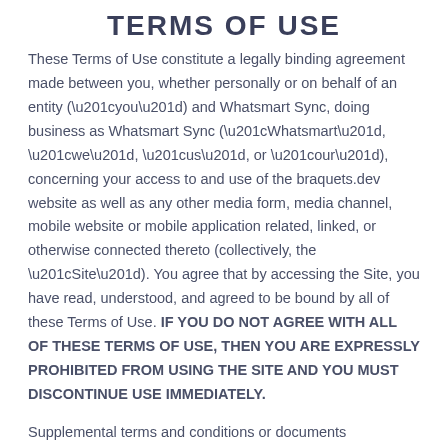TERMS OF USE
These Terms of Use constitute a legally binding agreement made between you, whether personally or on behalf of an entity (“you”) and Whatsmart Sync, doing business as Whatsmart Sync (“Whatsmart”, “we”, “us”, or “our”), concerning your access to and use of the braquets.dev website as well as any other media form, media channel, mobile website or mobile application related, linked, or otherwise connected thereto (collectively, the “Site”). You agree that by accessing the Site, you have read, understood, and agreed to be bound by all of these Terms of Use. IF YOU DO NOT AGREE WITH ALL OF THESE TERMS OF USE, THEN YOU ARE EXPRESSLY PROHIBITED FROM USING THE SITE AND YOU MUST DISCONTINUE USE IMMEDIATELY.
Supplemental terms and conditions or documents